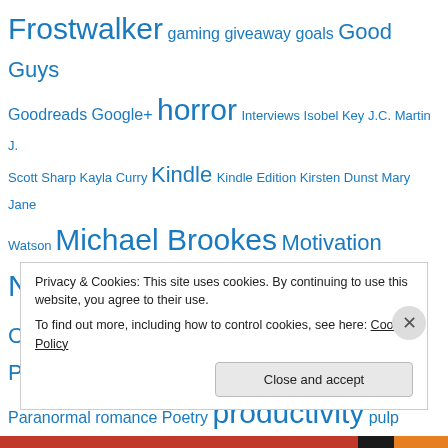[Figure (infographic): Tag cloud of blog/website topics in varying font sizes, all in blue. Tags include: Frostwalker, gaming, giveaway, goals, Good Guys, Goodreads, Google+, horror, Interviews, Isobel Key, J.C. Martin, J. Scott Sharp, Kayla Curry, Kindle, Kindle Edition, Kirsten Dunst, Mary Jane Watson, Michael Brookes, Motivation, New Release, North Carolina, Out After Dark, Paperback, Paranormal, Paranormal romance, Poetry, productivity, pulp, Rafflecopter, Rebecca Hamilton, Science Fiction, Scotland, Setting Goals, Short Stories, Short story, Smashwords, Spider-Man, Stephen King, survival horror, The Card, Tobey Maguire, Twitter]
Privacy & Cookies: This site uses cookies. By continuing to use this website, you agree to their use.
To find out more, including how to control cookies, see here: Cookie Policy
Close and accept